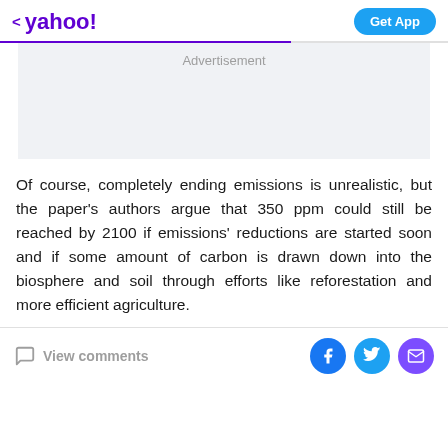< yahoo!  Get App
[Figure (other): Advertisement placeholder block with light gray background and 'Advertisement' label]
Of course, completely ending emissions is unrealistic, but the paper's authors argue that 350 ppm could still be reached by 2100 if emissions' reductions are started soon and if some amount of carbon is drawn down into the biosphere and soil through efforts like reforestation and more efficient agriculture.
View comments  [Facebook share] [Twitter share] [Email share]